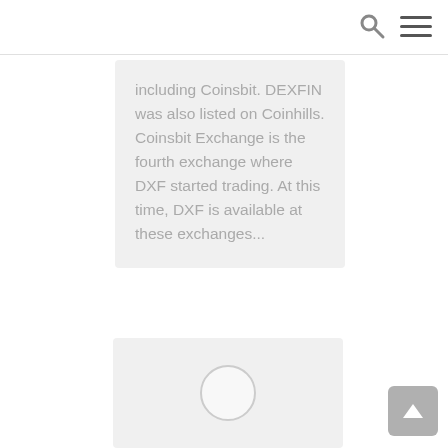[Figure (screenshot): Website navigation bar with search icon and hamburger menu icon on the right side]
including Coinsbit. DEXFIN was also listed on Coinhills. Coinsbit Exchange is the fourth exchange where DXF started trading. At this time, DXF is available at these exchanges...
[Figure (photo): Image placeholder card with a circular element in the center, light gray background]